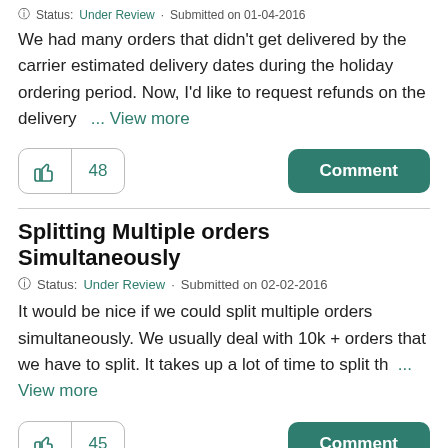Status: Under Review · Submitted on 01-04-2016
We had many orders that didn't get delivered by the carrier estimated delivery dates during the holiday ordering period. Now, I'd like to request refunds on the delivery ... View more
👍 48   Comment
Splitting Multiple orders Simultaneously
Status: Under Review · Submitted on 02-02-2016
It would be nice if we could split multiple orders simultaneously. We usually deal with 10k + orders that we have to split. It takes up a lot of time to split th ... View more
👍 45   Comment